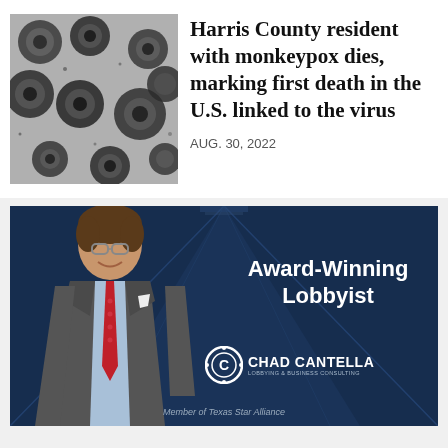[Figure (photo): Electron microscope image of monkeypox virus particles — dark oval shapes on grey background]
Harris County resident with monkeypox dies, marking first death in the U.S. linked to the virus
AUG. 30, 2022
[Figure (photo): Advertisement for Chad Cantella Lobbying & Business Consulting featuring a man in a suit with a red tie, text reads 'Award-Winning Lobbyist', logo and tagline 'Member of Texas Star Alliance']